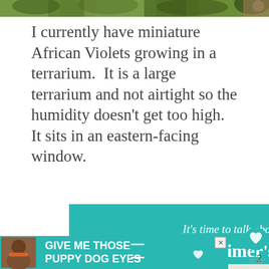[Figure (photo): Partial view of green leaves/plants at top of page]
I currently have miniature African Violets growing in a terrarium.  It is a large terrarium and not airtight so the humidity doesn't get too high. It sits in an eastern-facing window.
[Figure (infographic): Alzheimer's awareness advertisement with teal background. Text: "It's time to talk about Alzheimer's." with LEARN MORE button and alz.org/ourstories URL. Features illustrated figures of elderly people.]
[Figure (infographic): Pet advertisement with teal background. Text: "GIVE ME THOSE PUPPY DOG EYES" with dog photo on left and heart icon.]